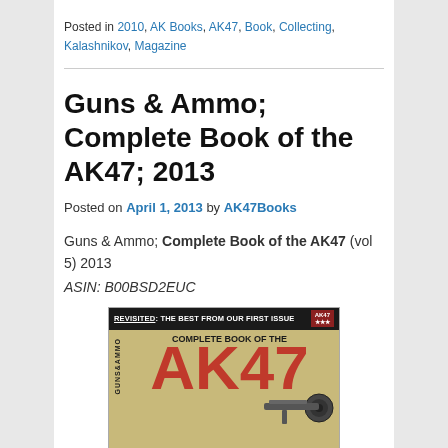Posted in 2010, AK Books, AK47, Book, Collecting, Kalashnikov, Magazine
Guns & Ammo; Complete Book of the AK47; 2013
Posted on April 1, 2013 by AK47Books
Guns & Ammo; Complete Book of the AK47 (vol 5) 2013
ASIN: B00BSD2EUC
[Figure (photo): Book cover of Guns & Ammo Complete Book of the AK47, showing large red AK47 text on tan/gold background with rifle image, top black bar reads REVISITED: THE BEST FROM OUR FIRST ISSUE]